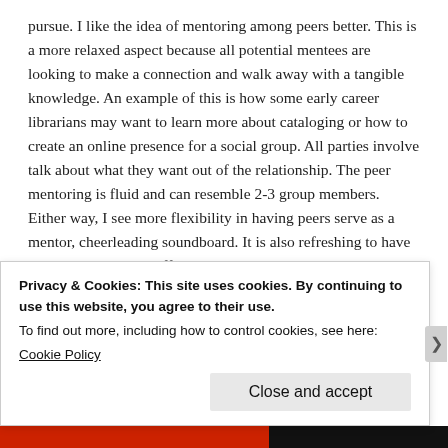pursue. I like the idea of mentoring among peers better. This is a more relaxed aspect because all potential mentees are looking to make a connection and walk away with a tangible knowledge. An example of this is how some early career librarians may want to learn more about cataloging or how to create an online presence for a social group. All parties involve talk about what they want out of the relationship. The peer mentoring is fluid and can resemble 2-3 group members. Either way, I see more flexibility in having peers serve as a mentor, cheerleading soundboard. It is also refreshing to have someone who is not affiliated at your organization. Peer mentoring can serve as an extra support outside of your job and provide objective feedback. My peer group is diverse and flexible. I can work on projects, talk about the profession in general, and or learn from
Privacy & Cookies: This site uses cookies. By continuing to use this website, you agree to their use.
To find out more, including how to control cookies, see here:
Cookie Policy
Close and accept